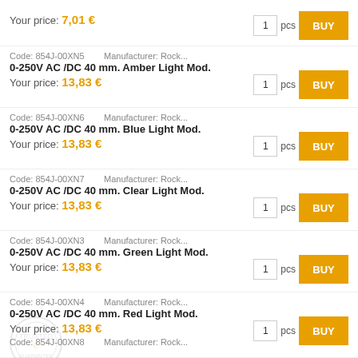Your price: 7,01 €
Code: 854J-00XN5  Manufacturer: Rock...
0-250V AC /DC 40 mm. Amber Light Mod.
Your price: 13,83 €
Code: 854J-00XN6  Manufacturer: Rock...
0-250V AC /DC 40 mm. Blue Light Mod.
Your price: 13,83 €
Code: 854J-00XN7  Manufacturer: Rock...
0-250V AC /DC 40 mm. Clear Light Mod.
Your price: 13,83 €
Code: 854J-00XN3  Manufacturer: Rock...
0-250V AC /DC 40 mm. Green Light Mod.
Your price: 13,83 €
Code: 854J-00XN4  Manufacturer: Rock...
0-250V AC /DC 40 mm. Red Light Mod.
Your price: 13,83 €
Code: 854J-00XN8  Manufacturer: Rock...
0-250V AC /DC 40 mm. Yellow Light Mod.